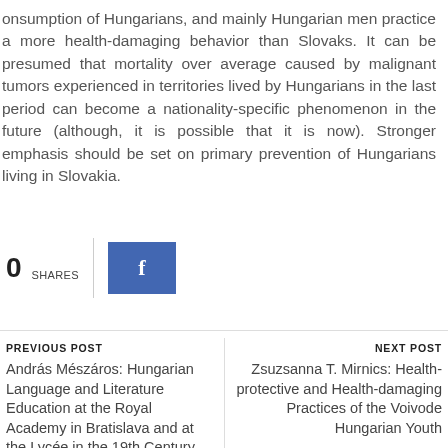consumption of Hungarians, and mainly Hungarian men practice a more health-damaging behavior than Slovaks. It can be presumed that mortality over average caused by malignant tumors experienced in territories lived by Hungarians in the last period can become a nationality-specific phenomenon in the future (although, it is possible that it is now). Stronger emphasis should be set on primary prevention of Hungarians living in Slovakia.
0 SHARES
PREVIOUS POST
András Mészáros: Hungarian Language and Literature Education at the Royal Academy in Bratislava and at the Lycée in the 19th Century
NEXT POST
Zsuzsanna T. Mirnics: Health-protective and Health-damaging Practices of the Voivode Hungarian Youth